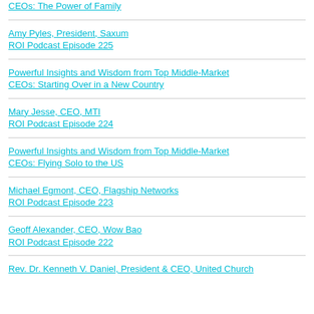CEOs: The Power of Family
Amy Pyles, President, Saxum
ROI Podcast Episode 225
Powerful Insights and Wisdom from Top Middle-Market CEOs: Starting Over in a New Country
Mary Jesse, CEO, MTI
ROI Podcast Episode 224
Powerful Insights and Wisdom from Top Middle-Market CEOs: Flying Solo to the US
Michael Egmont, CEO, Flagship Networks
ROI Podcast Episode 223
Geoff Alexander, CEO, Wow Bao
ROI Podcast Episode 222
Rev. Dr. Kenneth V. Daniel, President & CEO, United Church